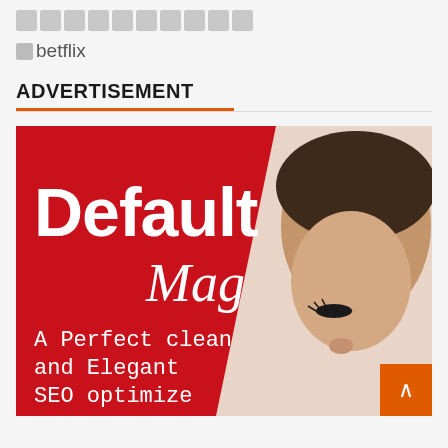□□□□□□□□□□
□betflix
ADVERTISEMENT
[Figure (illustration): Default Mag advertisement banner with red background, white bold text 'Default' and italic script 'Mag', photo of a woman's face on the right, and text 'A Perfect clean and Elegant SEO optimize' in monospace font at the bottom left. Orange back-to-top button with up arrow in bottom right corner.]